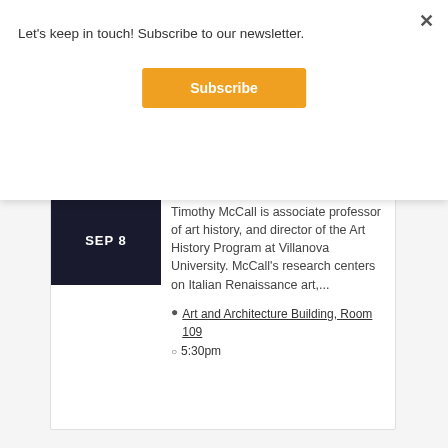Let's keep in touch! Subscribe to our newsletter.
Subscribe
Timothy McCall is associate professor of art history, and director of the Art History Program at Villanova University. McCall's research centers on Italian Renaissance art,...
Art and Architecture Building, Room 109
5:30pm
SEP 8